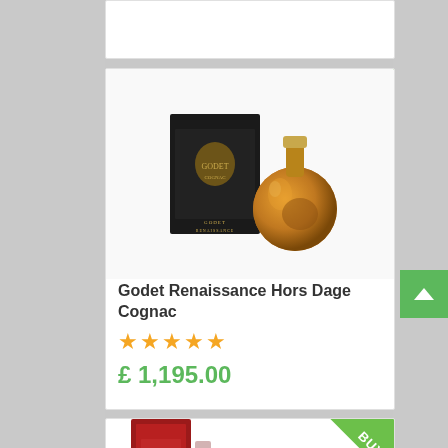[Figure (photo): Top portion of a product card, partially visible, white background]
[Figure (photo): Godet Renaissance Hors Dage Cognac product listing card showing a round cognac bottle with black gift box, with a green BUY badge in top right corner]
Godet Renaissance Hors Dage Cognac
★★★★★
£ 1,195.00
[Figure (photo): Bottom portion of another product card with green BUY badge and red product box partially visible]